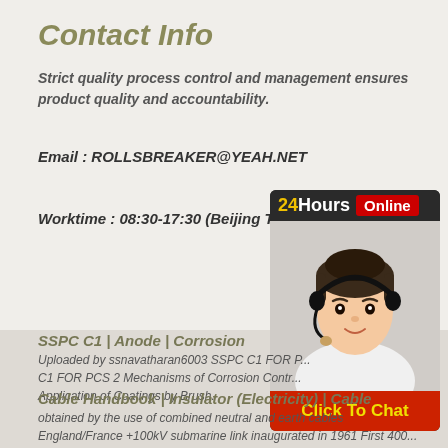Contact Info
Strict quality process control and management ensures product quality and accountability.
Email : ROLLSBREAKER@YEAH.NET
Worktime : 08:30-17:30 (Beijing Time)
[Figure (infographic): 24Hours Online chat widget with a customer service representative photo and Click To Chat button]
SSPC C1 | Anode | Corrosion
Uploaded by ssnavatharan6003 SSPC C1 FOR PCS 2 Mechanisms of Corrosion Control Application of Coatings by Brush.
Cable Handbook | Insulator (Electricity) | Cable
obtained by the use of combined neutral and earth cables England/France +100kV submarine link inaugurated in 1961 First 400...